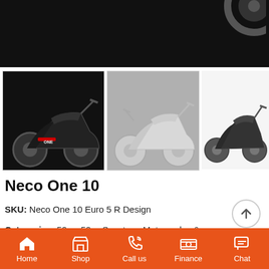[Figure (photo): Black background hero image of scooter/motorcycle tire, partially visible at top]
[Figure (photo): Three scooter thumbnail images in a row: left dark background Neco One 10 scooter, center gray background Neco One 10 scooter, right white background Neco One 10 scooter]
Neco One 10
SKU: Neco One 10 Euro 5 R Design
Categories: 50cc, 50cc Scooters, Motorcycles & Scooters,
Home  Shop  Call us  Finance  Chat